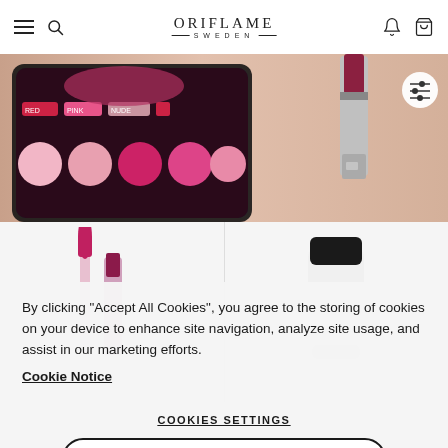ORIFLAME SWEDEN — Navigation bar with hamburger menu, search, bell, and bag icons
[Figure (screenshot): Oriflame website hero image showing a smartphone with lipstick shade selector app (RED, PINK, NUDE color swatches) and a silver lipstick tube on a beige/rose background. A filter/settings button is overlaid top-right.]
[Figure (photo): Product strip showing two beauty products on light grey background: left side shows a magenta mascara wand and lipstick, right side shows a white bottle with black cap (likely a serum or primer).]
By clicking “Accept All Cookies”, you agree to the storing of cookies on your device to enhance site navigation, analyze site usage, and assist in our marketing efforts.
Cookie Notice
COOKIES SETTINGS
ACCEPT ALL COOKIES